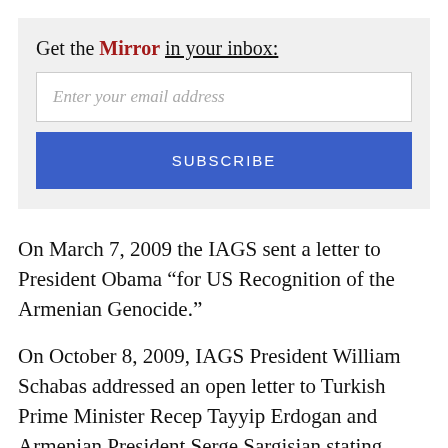[Figure (other): Email subscription widget with label 'Get the Mirror in your inbox:', an email input field, and a blue SUBSCRIBE button]
On March 7, 2009 the IAGS sent a letter to President Obama “for US Recognition of the Armenian Genocide.”
On October 8, 2009, IAGS President William Schabas addressed an open letter to Turkish Prime Minister Recep Tayyip Erdogan and Armenian President Serge Sargisian stating, “Acknowledgment of the Armenian Genocide must